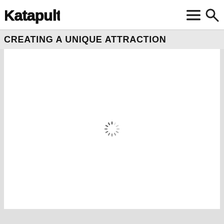Katapult [logo with hamburger menu and search icon]
CREATING A UNIQUE ATTRACTION
[Figure (other): Large white content area with a loading spinner (radial dashes pattern) centered in the middle, indicating media content is loading.]